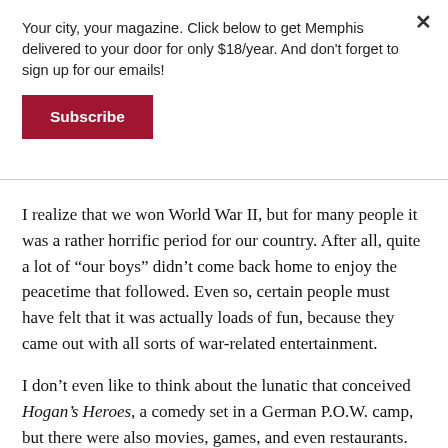Your city, your magazine. Click below to get Memphis delivered to your door for only $18/year. And don't forget to sign up for our emails!
[Figure (other): Red Subscribe button]
I realize that we won World War II, but for many people it was a rather horrific period for our country. After all, quite a lot of “our boys” didn’t come back home to enjoy the peacetime that followed. Even so, certain people must have felt that it was actually loads of fun, because they came out with all sorts of war-related entertainment.
I don’t even like to think about the lunatic that conceived Hogan’s Heroes, a comedy set in a German P.O.W. camp, but there were also movies, games, and even restaurants.
And the somewhat awkwardly named 91st Bomb Group